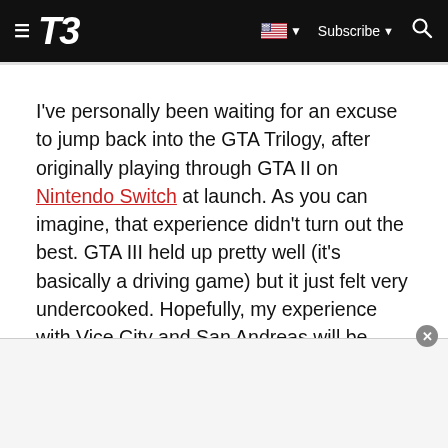T3 — navigation bar with hamburger menu, T3 logo, US flag/language selector, Subscribe button, and search icon
I've personally been waiting for an excuse to jump back into the GTA Trilogy, after originally playing through GTA II on Nintendo Switch at launch. As you can imagine, that experience didn't turn out the best. GTA III held up pretty well (it's basically a driving game) but it just felt very undercooked. Hopefully, my experience with Vice City and San Andreas will be better following the implementation of these updates.
[Figure (other): Advertisement banner at bottom of page with close (x) button]